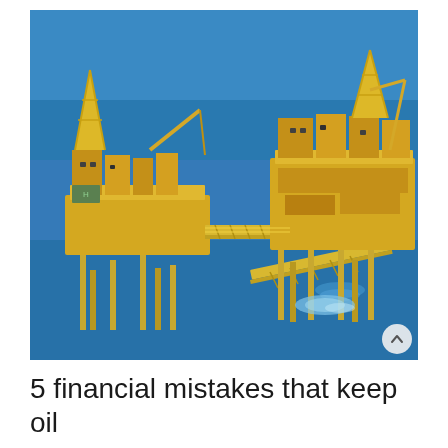[Figure (photo): Aerial view of two offshore oil drilling platforms connected by a bridge/walkway, surrounded by blue ocean water. The platforms are large industrial structures with yellow/gold colored equipment, cranes, and derricks.]
5 financial mistakes that keep oil